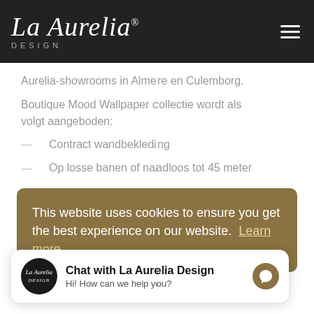La Aurelia DESIGN
Aurelia-showrooms in Almere en Culemborg.
Boutique Mood Wallpaper collectie wordt als volgt aangeboden:
Contract wandbekleding
Op losse banen of naadloos tot 45 meter
This website uses cookies to ensure you get the best experience on our website. Learn more
Chat with La Aurelia Design
Hi! How can we help you?
Krasbestendig en kreukvrij